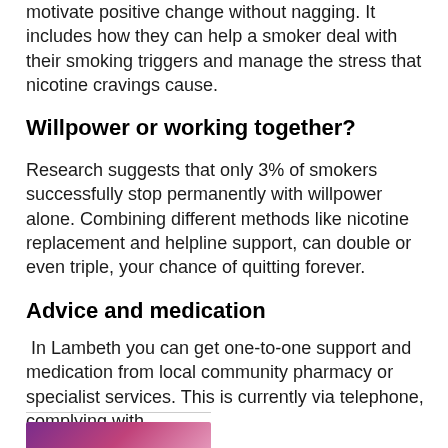motivate positive change without nagging. It includes how they can help a smoker deal with their smoking triggers and manage the stress that nicotine cravings cause.
Willpower or working together?
Research suggests that only 3% of smokers successfully stop permanently with willpower alone. Combining different methods like nicotine replacement and helpline support, can double or even triple, your chance of quitting forever.
Advice and medication
In Lambeth you can get one-to-one support and medication from local community pharmacy or specialist services. This is currently via telephone, complying with
[Figure (photo): Partial view of a purple/pink photo or banner at the bottom of the page]